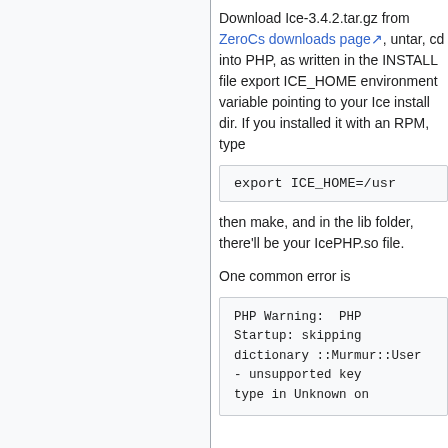Download Ice-3.4.2.tar.gz from ZeroCs downloads page, untar, cd into PHP, as written in the INSTALL file export ICE_HOME environment variable pointing to your Ice install dir. If you installed it with an RPM, type
export ICE_HOME=/usr
then make, and in the lib folder, there'll be your IcePHP.so file.
One common error is
PHP Warning:  PHP Startup: skipping dictionary ::Murmur::User - unsupported key type in Unknown on